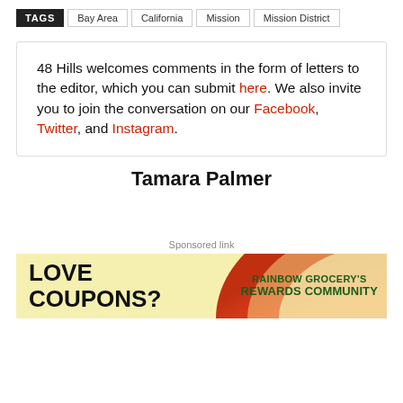TAGS  Bay Area  California  Mission  Mission District
48 Hills welcomes comments in the form of letters to the editor, which you can submit here. We also invite you to join the conversation on our Facebook, Twitter, and Instagram.
Tamara Palmer
Sponsored link
[Figure (illustration): Advertisement banner for Rainbow Grocery's Rewards Community. Yellow background on left with bold black text 'LOVE COUPONS?' and orange/red arc design on right with green text 'RAINBOW GROCERY'S REWARDS COMMUNITY' and a house/grocery icon.]